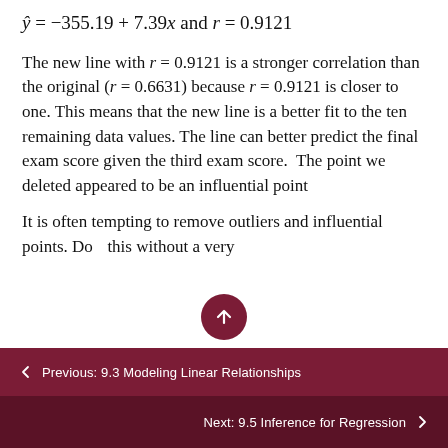The new line with r = 0.9121 is a stronger correlation than the original (r = 0.6631) because r = 0.9121 is closer to one. This means that the new line is a better fit to the ten remaining data values. The line can better predict the final exam score given the third exam score.  The point we deleted appeared to be an influential point
It is often tempting to remove outliers and influential points. Do… this without a very
← Previous: 9.3 Modeling Linear Relationships
Next: 9.5 Inference for Regression →